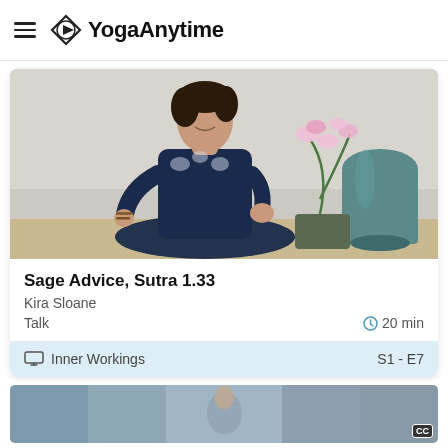YogaAnytime
[Figure (photo): Woman in dark navy top sitting cross-legged on a yoga mat, smiling and gesturing with hand, with orchid flowers and teal vase in background]
Sage Advice, Sutra 1.33
Kira Sloane
Talk  20 min
Inner Workings  S1 - E7
[Figure (screenshot): Bottom strip showing thumbnails of another yoga video]